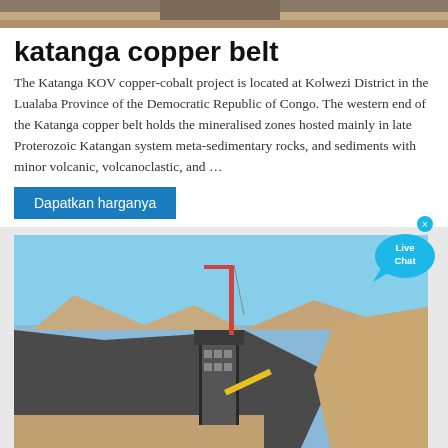[Figure (photo): Top strip photo of mining area landscape]
katanga copper belt
The Katanga KOV copper-cobalt project is located at Kolwezi District in the Lualaba Province of the Democratic Republic of Congo. The western end of the Katanga copper belt holds the mineralised zones hosted mainly in late Proterozoic Katangan system meta-sedimentary rocks, and sediments with minor volcanic, volcanoclastic, and …
Dapatkan harganya
[Figure (photo): Open-pit mining facility with processing plant, crane, and heavy equipment in an arid landscape with sandy hills]
Copperbelt Katanga Mining
2 · Copperbelt Katanga Mining is one of the leading print and online publications for the Central African Copperbelt